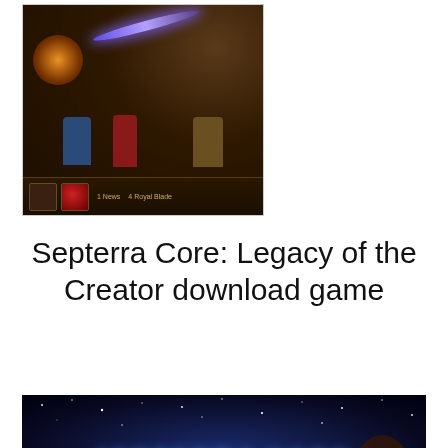[Figure (screenshot): Screenshot of Septerra Core gameplay showing characters and a blue energy beam in a cave environment with a UI bar at the bottom]
Septerra Core: Legacy of the Creator download game
[Figure (illustration): Septerra Core game banner/logo image with blue stylized text reading SEPTERRA CORE on a dark blue starry background with creature silhouette]